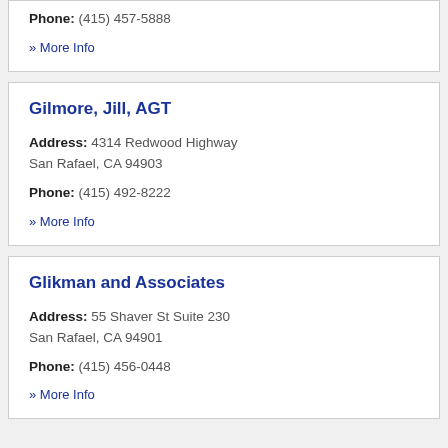Phone: (415) 457-5888
» More Info
Gilmore, Jill, AGT
Address: 4314 Redwood Highway
San Rafael, CA 94903
Phone: (415) 492-8222
» More Info
Glikman and Associates
Address: 55 Shaver St Suite 230
San Rafael, CA 94901
Phone: (415) 456-0448
» More Info